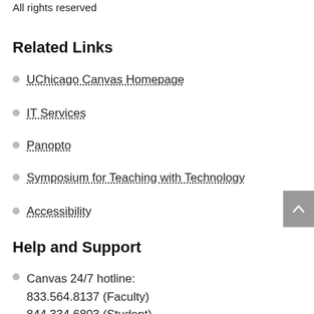All rights reserved
Related Links
UChicago Canvas Homepage
IT Services
Panopto
Symposium for Teaching with Technology
Accessibility
Help and Support
Canvas 24/7 hotline:
833.564.8137 (Faculty)
844.334.6803 (Student)